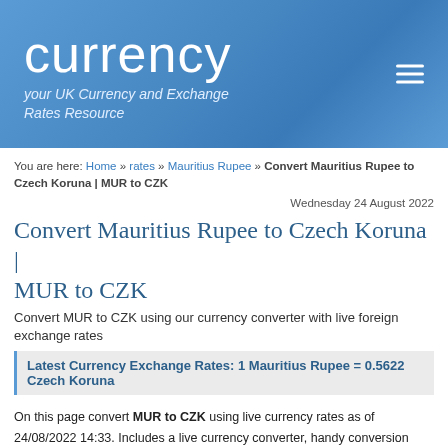currency — your UK Currency and Exchange Rates Resource
You are here: Home » rates » Mauritius Rupee » Convert Mauritius Rupee to Czech Koruna | MUR to CZK
Wednesday 24 August 2022
Convert Mauritius Rupee to Czech Koruna | MUR to CZK
Convert MUR to CZK using our currency converter with live foreign exchange rates
Latest Currency Exchange Rates: 1 Mauritius Rupee = 0.5622 Czech Koruna
On this page convert MUR to CZK using live currency rates as of 24/08/2022 14:33. Includes a live currency converter, handy conversion table, last 7 days exchange rate history and some live Mauritius Rupee to Czech Koruna charts. Invert these currencies?
Currency Converter
Use this currency calulator for live currency conversions as you type.